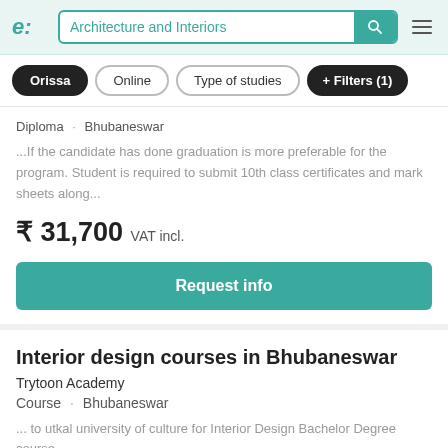Architecture and Interiors
Orissa
Online
Type of studies
+ Filters (1)
Diploma · Bhubaneswar
...If the candidate has done graduation is more preferable for the program. Student is required to submit 10th class certificates and mark sheets along...
₹ 31,700 VAT incl.
Request info
Interior design courses in Bhubaneswar
Trytoon Academy
Course · Bhubaneswar
... to utkal university of culture for Interior Design Bachelor Degree course,